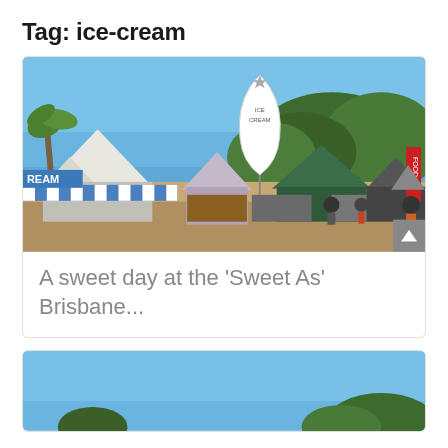Tag: ice-cream
[Figure (photo): Outdoor food market with white and striped tents, a teardrop banner reading ICE CREAM, multiple market stalls, large green trees in the background, and a clear blue sky. People are visible walking among the stalls.]
A sweet day at the ‘Sweet As’ Brisbane...
[Figure (photo): Partial photo showing blue sky and tops of trees, beginning of a second article card.]